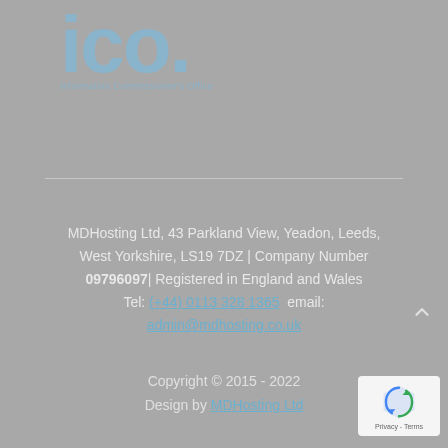[Figure (logo): ICO (Information Commissioner's Office) logo — large stylized text 'ico.' in muted blue with subtitle text below]
MDHosting Ltd, 43 Parkland View, Yeadon, Leeds, West Yorkshire, LS19 7DZ | Company Number 09796097| Registered in England and Wales Tel: (+44) 0113 328 1365  email: admin@mdhosting.co.uk
Copyright © 2015 - 2022
Design by MDHosting Ltd
[Figure (logo): Google reCAPTCHA badge showing the reCAPTCHA logo with 'Privacy - Terms' text below on a white/light grey rounded rectangle]